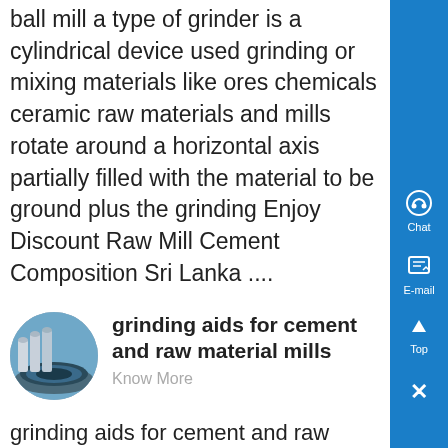ball mill a type of grinder is a cylindrical device used grinding or mixing materials like ores chemicals ceramic raw materials and mills rotate around a horizontal axis partially filled with the material to be ground plus the grinding Enjoy Discount Raw Mill Cement Composition Sri Lanka ....
[Figure (photo): Oval/circular thumbnail photo of an industrial cement or grinding mill facility with silos and circular grinding equipment]
grinding aids for cement and raw material mills
Know More
grinding aids for cement and raw material mills Our products includes five series crusher, sand making machine, powder grinding mill, mineral processing equipment and building materials equipmentOur leading products have crushing equipment, sand making equipment, mobile crusher, etc, Each type of product is with complete specifications...